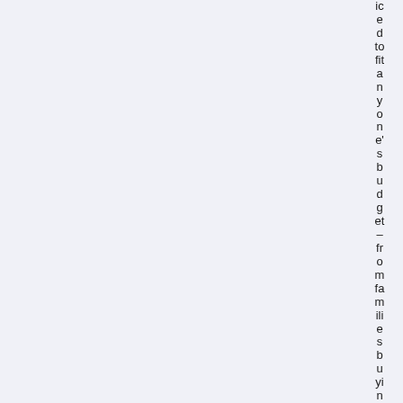iced to fit anyone's budget – from families buyin